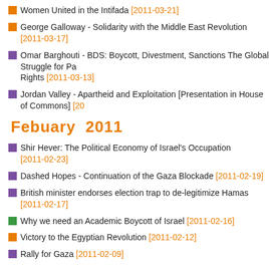Women United in the Intifada [2011-03-21]
George Galloway - Solidarity with the Middle East Revolution [2011-03-17]
Omar Barghouti - BDS: Boycott, Divestment, Sanctions The Global Struggle for Pa Rights [2011-03-13]
Jordan Valley - Apartheid and Exploitation [Presentation in House of Commons] [20
Febuary  2011
Shir Hever: The Political Economy of Israel's Occupation [2011-02-23]
Dashed Hopes - Continuation of the Gaza Blockade [2011-02-19]
British minister endorses election trap to de-legitimize Hamas [2011-02-17]
Why we need an Academic Boycott of Israel [2011-02-16]
Victory to the Egyptian Revolution [2011-02-12]
Rally for Gaza [2011-02-09]
January  2011
Israel's Premier Dead Sea Cosmetics forced out of shopping centres in Ireland and [2011-01-27]
Tzipi Livni cancels South Africa trip amid fear of war crimes arrest [2011-01-20]
Vanessa Paradis and Johnny Depp boycott Israel [2011-01-17]
BDS Movement Victory: John Lewis Stops Stocking Ahava Products in Britain [201